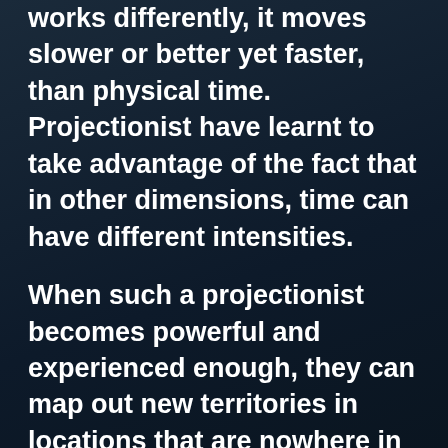works differently, it moves slower or better yet faster, than physical time. Projectionist have learnt to take advantage of the fact that in other dimensions, time can have different intensities.
When such a projectionist becomes powerful and experienced enough, they can map out new territories in locations that are nowhere in the realm of physical and rational human reality, and they can then move into these locations for extended periods of time in a fully awake manner. Once this is possible, such a trans-dimensional traveler can in those other locations live out entire existences, the